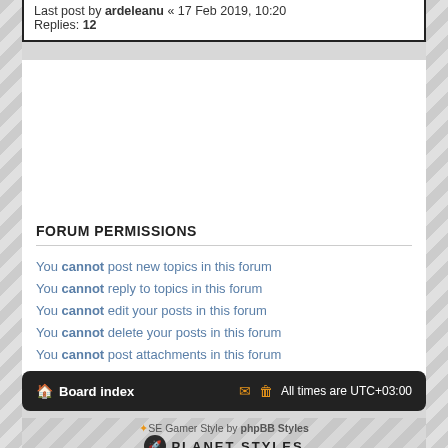Last post by ardeleanu « 17 Feb 2019, 10:20
Replies: 12
New Topic | sort | 319 topics | 1 2 3 4 5 ... 11 >
Jump to
FORUM PERMISSIONS
You cannot post new topics in this forum
You cannot reply to topics in this forum
You cannot edit your posts in this forum
You cannot delete your posts in this forum
You cannot post attachments in this forum
Board index | All times are UTC+03:00
SE Gamer Style by phpBB Styles
PLANET STYLES
Powered by phpBB® Forum Software © phpBB Limited